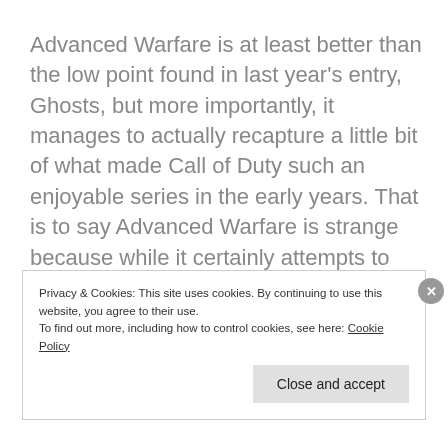Advanced Warfare is at least better than the low point found in last year's entry, Ghosts, but more importantly, it manages to actually recapture a little bit of what made Call of Duty such an enjoyable series in the early years. That is to say Advanced Warfare is strange because while it certainly attempts to push the franchise into the future through both the setting and, subsequently, the mechanics, it also feels more stuck in the past than ever.
Privacy & Cookies: This site uses cookies. By continuing to use this website, you agree to their use. To find out more, including how to control cookies, see here: Cookie Policy